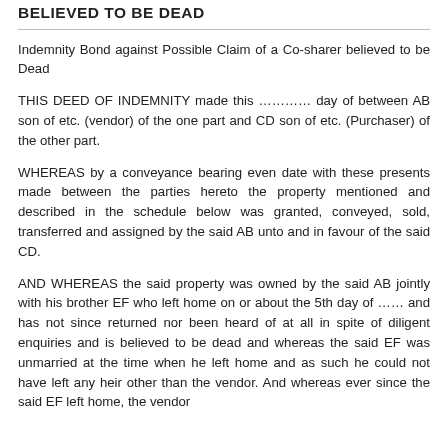BELIEVED TO BE DEAD
Indemnity Bond against Possible Claim of a Co-sharer believed to be Dead
THIS DEED OF INDEMNITY made this ………… day of between AB son of etc. (vendor) of the one part and CD son of etc. (Purchaser) of the other part.
WHEREAS by a conveyance bearing even date with these presents made between the parties hereto the property mentioned and described in the schedule below was granted, conveyed, sold, transferred and assigned by the said AB unto and in favour of the said CD.
AND WHEREAS the said property was owned by the said AB jointly with his brother EF who left home on or about the 5th day of …… and has not since returned nor been heard of at all in spite of diligent enquiries and is believed to be dead and whereas the said EF was unmarried at the time when he left home and as such he could not have left any heir other than the vendor. And whereas ever since the said EF left home, the vendor